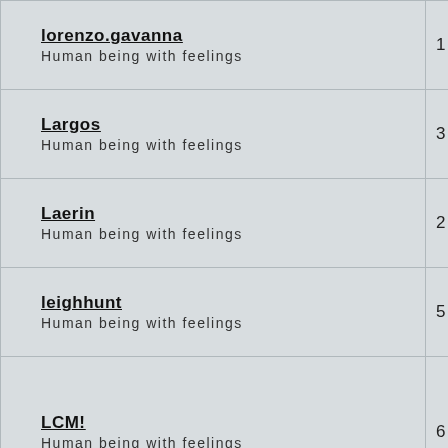| User | Number |
| --- | --- |
| lorenzo.gavanna
Human being with feelings | 1… |
| Largos
Human being with feelings | 3… |
| Laerin
Human being with feelings | 2… |
| leighhunt
Human being with feelings | 5… |
| LCM!
Human being with feelings | 6… |
| lavmort
Human being with feelings | 4… |
| Lannister
Human being with feelings | 13… |